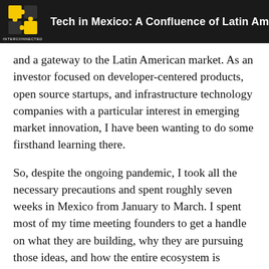Tech in Mexico: A Confluence of Latin Ame…
and a gateway to the Latin American market. As an investor focused on developer-centered products, open source startups, and infrastructure technology companies with a particular interest in emerging market innovation, I have been wanting to do some firsthand learning there.
So, despite the ongoing pandemic, I took all the necessary precautions and spent roughly seven weeks in Mexico from January to March. I spent most of my time meeting founders to get a handle on what they are building, why they are pursuing those ideas, and how the entire ecosystem is evolving to support their ambitions.